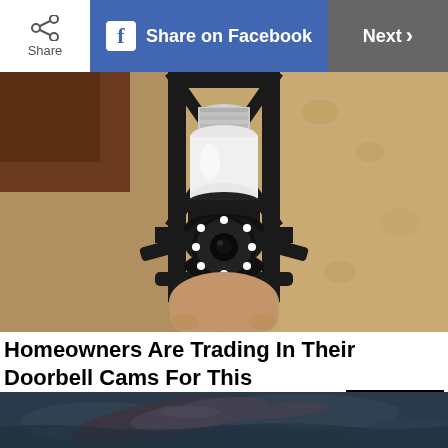Share | Share on Facebook | Next >
[Figure (photo): A light-bulb socket security camera installed in an outdoor lantern fixture mounted on a textured stucco wall.]
Homeowners Are Trading In Their Doorbell Cams For This
Camerca | Sponsored
Learn More
[Figure (photo): A dolphin partially surfacing from dark water, visible from above.]